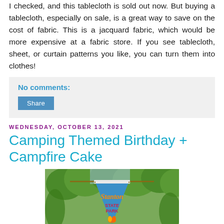I checked, and this tablecloth is sold out now. But buying a tablecloth, especially on sale, is a great way to save on the cost of fabric. This is a jacquard fabric, which would be more expensive at a fabric store. If you see tablecloth, sheet, or curtain patterns you like, you can turn them into clothes!
No comments:
Share
WEDNESDAY, OCTOBER 13, 2021
Camping Themed Birthday + Campfire Cake
[Figure (photo): Photo of a blue triangular pennant banner hanging from a rope between trees. The pennant reads 'Stanton STATE PARK' with colorful lettering and a campfire illustration at the bottom.]